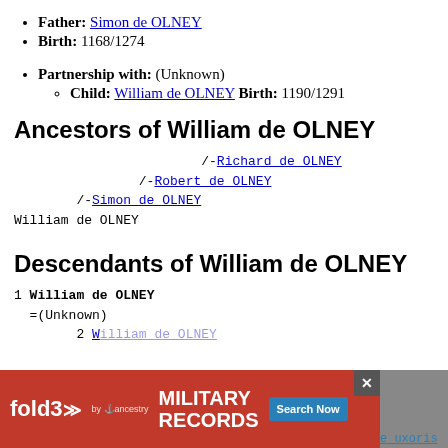Father: Simon de OLNEY
Birth: 1168/1274
Partnership with: (Unknown)
Child: William de OLNEY Birth: 1190/1291
Ancestors of William de OLNEY
/-Richard de OLNEY
/-Robert de OLNEY
/-Simon de OLNEY
William de OLNEY
Descendants of William de OLNEY
1 William de OLNEY
=(Unknown)
  2 [partially visible]
e uxoris [cut off]
[Figure (other): fold3 Military Records advertisement banner with Search Now button and close X button]